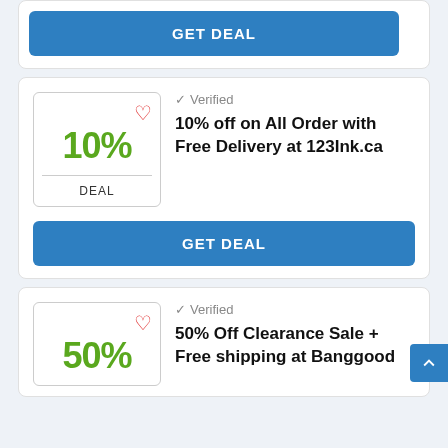[Figure (screenshot): GET DEAL blue button at top of page, partial card visible]
[Figure (infographic): Deal card: 10% badge with heart icon, Verified checkmark, title '10% off on All Order with Free Delivery at 123Ink.ca', GET DEAL button]
[Figure (screenshot): Scroll to top button (blue, chevron up)]
[Figure (infographic): Deal card partial: 50% badge with heart icon, Verified checkmark, title '50% Off Clearance Sale + Free shipping at Banggood']